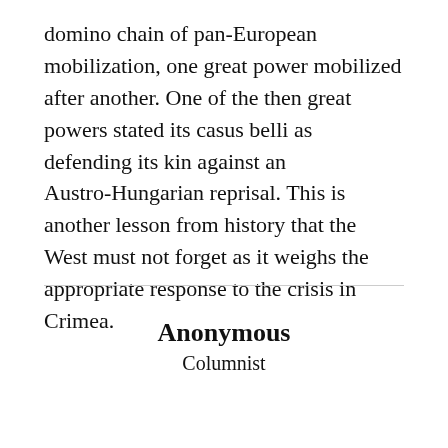domino chain of pan-European mobilization, one great power mobilized after another. One of the then great powers stated its casus belli as defending its kin against an Austro-Hungarian reprisal. This is another lesson from history that the West must not forget as it weighs the appropriate response to the crisis in Crimea.
Anonymous
Columnist